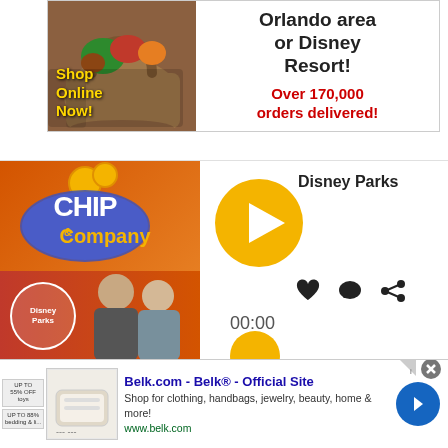[Figure (screenshot): Advertisement banner for grocery delivery service in Orlando area or Disney Resort. Shows a grocery bag with vegetables on the left with 'Shop Online Now!' text in yellow, and on the right shows 'Orlando area or Disney Resort!' in black bold text and 'Over 170,000 orders delivered!' in red bold text.]
[Figure (screenshot): Video player screenshot showing 'Chip & Company' Disney Parks podcast/show. Left side shows the show logo with Mickey ears and hosts photo on orange/red background. Right side shows a golden play button, Disney Parks label, heart/comment/share icons, and 00:00 timestamp.]
[Figure (screenshot): Advertisement at bottom for Belk.com - Belk Official Site. Shows small product thumbnails on left, brand name in blue, description text 'Shop for clothing, handbags, jewelry, beauty, home & more!' and website URL www.belk.com in green. Blue arrow button on right. Close X button top right.]